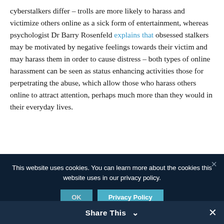cyberstalkers differ – trolls are more likely to harass and victimize others online as a sick form of entertainment, whereas psychologist Dr Barry Rosenfeld explains that obsessed stalkers may be motivated by negative feelings towards their victim and may harass them in order to cause distress – both types of online harassment can be seen as status enhancing activities those for perpetrating the abuse, which allow those who harass others online to attract attention, perhaps much more than they would in their everyday lives.
This website uses cookies. You can learn more about the cookies this website uses in our privacy policy.
Share This